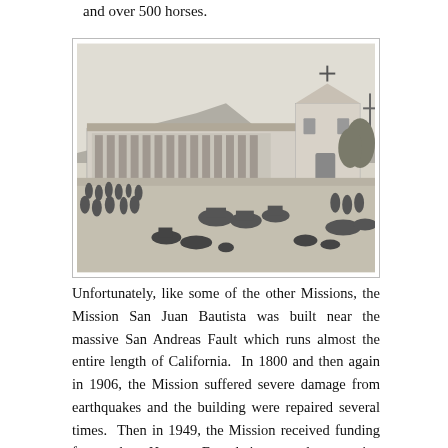and over 500 horses.
[Figure (illustration): Historical black and white illustration of Mission San Juan Bautista, showing the mission building with arched colonnade, a church with cross on top, and many people and horses in the foreground plaza area.]
Unfortunately, like some of the other Missions, the Mission San Juan Bautista was built near the massive San Andreas Fault which runs almost the entire length of California.  In 1800 and then again in 1906, the Mission suffered severe damage from earthquakes and the building were repaired several times.  Then in 1949, the Mission received funding from the Hearst Foundations and extensive restorations of the existing buildings began to repair the damage from years of neglect after the secularization and confiscation of the California Missions by the